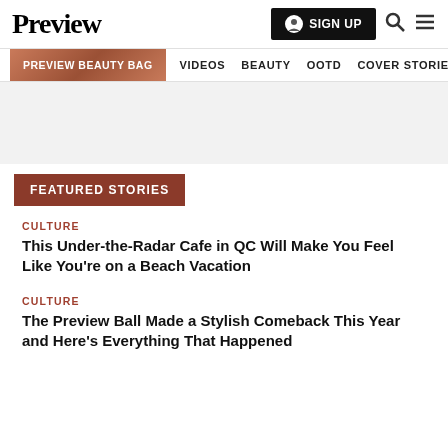Preview
SIGN UP
PREVIEW BEAUTY BAG  VIDEOS  BEAUTY  OOTD  COVER STORIES
[Figure (other): Advertisement area / gray placeholder]
FEATURED STORIES
CULTURE
This Under-the-Radar Cafe in QC Will Make You Feel Like You're on a Beach Vacation
CULTURE
The Preview Ball Made a Stylish Comeback This Year and Here's Everything That Happened